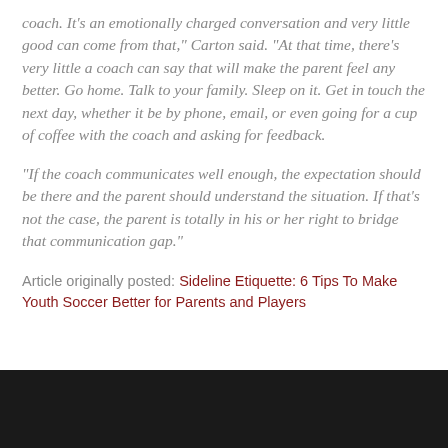coach. It's an emotionally charged conversation and very little good can come from that," Carton said. "At that time, there's very little a coach can say that will make the parent feel any better. Go home. Talk to your family. Sleep on it. Get in touch the next day, whether it be by phone, email, or even going for a cup of coffee with the coach and asking for feedback.
"If the coach communicates well enough, the expectation should be there and the parent should understand the situation. If that's not the case, the parent is totally in his or her right to bridge that communication gap."
Article originally posted: Sideline Etiquette: 6 Tips To Make Youth Soccer Better for Parents and Players